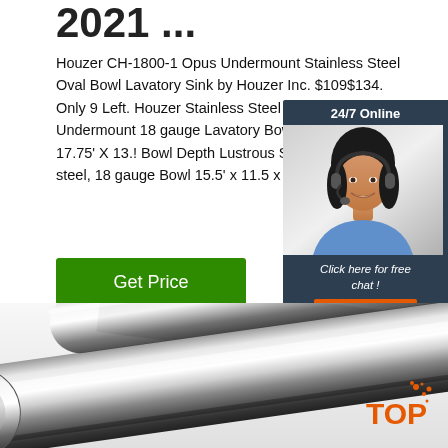2021 ...
Houzer CH-1800-1 Opus Undermount Stainless Steel Oval Bowl Lavatory Sink by Houzer Inc. $109$134. Only 9 Left. Houzer Stainless Steel bathroom sink Opus Undermount 18 gauge Lavatory Bowl. Overall size 17.75' X 13.! Bowl Depth Lustrous Satin Finish T-304 steel, 18 gauge Bowl 15.5' x 11.5 x 6' de
[Figure (infographic): Chat widget overlay with woman wearing headset, '24/7 Online' header, 'Click here for free chat!' text, and orange QUOTATION button]
Get Price
[Figure (photo): Close-up photo of shiny stainless steel round bar/rod with reflective chrome finish, viewed at an angle]